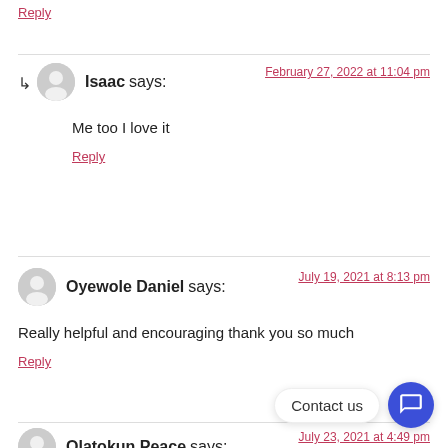Reply
Isaac says:  February 27, 2022 at 11:04 pm
Me too I love it
Reply
Oyewole Daniel says:  July 19, 2021 at 8:13 pm
Really helpful and encouraging thank you so much
Reply
Olatokun Peace says:  July 23, 2021 at 4:49 pm
[Figure (other): Contact us chat widget button]